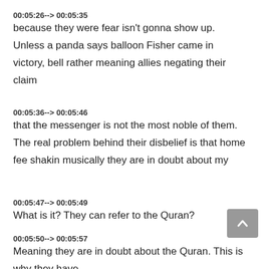00:05:26--> 00:05:35
because they were fear isn't gonna show up. Unless a panda says balloon Fisher came in victory, bell rather meaning allies negating their claim
00:05:36--> 00:05:46
that the messenger is not the most noble of them. The real problem behind their disbelief is that home fee shakin musically they are in doubt about my
00:05:47--> 00:05:49
What is it? They can refer to the Quran?
00:05:50--> 00:05:57
Meaning they are in doubt about the Quran. This is why they have